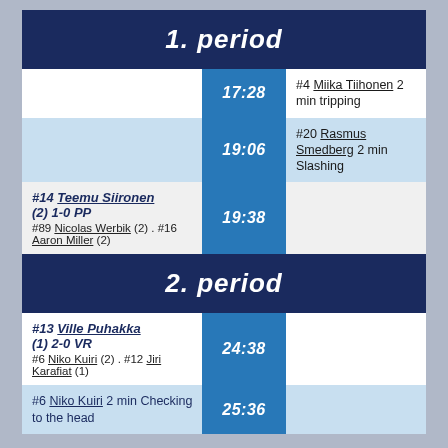1. period
| Team/Player | Time | Details |
| --- | --- | --- |
|  | 17:28 | #4 Miika Tiihonen 2 min tripping |
|  | 19:06 | #20 Rasmus Smedberg 2 min Slashing |
| #14 Teemu Siironen (2) 1-0 PP
#89 Nicolas Werbik (2) . #16 Aaron Miller (2) | 19:38 |  |
2. period
| Team/Player | Time | Details |
| --- | --- | --- |
| #13 Ville Puhakka (1) 2-0 VR
#6 Niko Kuiri (2) . #12 Jiri Karafiat (1) | 24:38 |  |
| #6 Niko Kuiri 2 min Checking to the head | 25:36 |  |